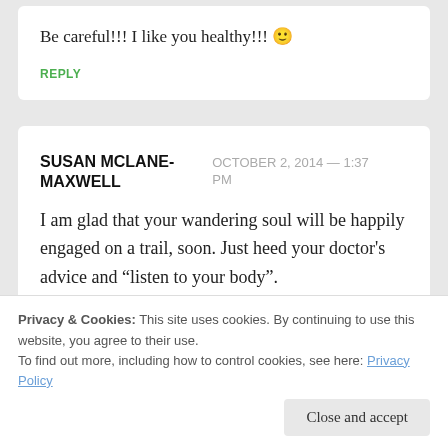Be careful!!! I like you healthy!!! 🙂
REPLY
SUSAN MCLANE-MAXWELL
OCTOBER 2, 2014 — 1:37 PM
I am glad that your wandering soul will be happily engaged on a trail, soon. Just heed your doctor's advice and “listen to your body”.
Privacy & Cookies: This site uses cookies. By continuing to use this website, you agree to their use.
To find out more, including how to control cookies, see here: Privacy Policy
Close and accept